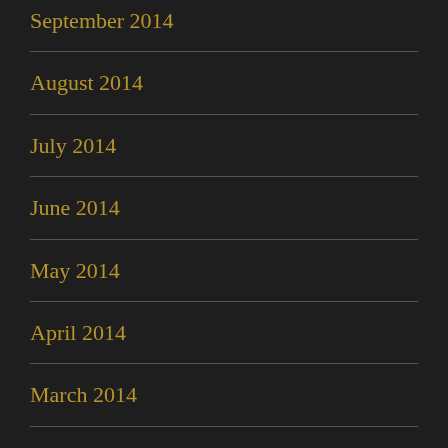September 2014
August 2014
July 2014
June 2014
May 2014
April 2014
March 2014
February 2014
January 2014